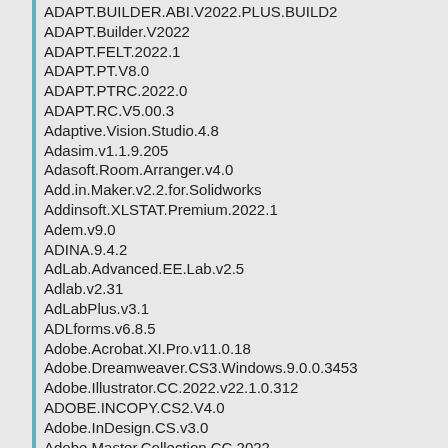ADAPT.BUILDER.ABI.V2022.PLUS.BUILD2
ADAPT.Builder.V2022
ADAPT.FELT.2022.1
ADAPT.PT.V8.0
ADAPT.PTRC.2022.0
ADAPT.RC.V5.00.3
Adaptive.Vision.Studio.4.8
Adasim.v1.1.9.205
Adasoft.Room.Arranger.v4.0
Add.in.Maker.v2.2.for.Solidworks
Addinsoft.XLSTAT.Premium.2022.1
Adem.v9.0
ADINA.9.4.2
AdLab.Advanced.EE.Lab.v2.5
Adlab.v2.31
AdLabPlus.v3.1
ADLforms.v6.8.5
Adobe.Acrobat.XI.Pro.v11.0.18
Adobe.Dreamweaver.CS3.Windows.9.0.0.3453
Adobe.Illustrator.CC.2022.v22.1.0.312
ADOBE.INCOPY.CS2.V4.0
Adobe.InDesign.CS.v3.0
Adobe.Master.Collection.CC.2022
Adobe.PageMaker.v6.5C
Adobe.Photoshop.CC.2022.v19.0.with.CameraRa